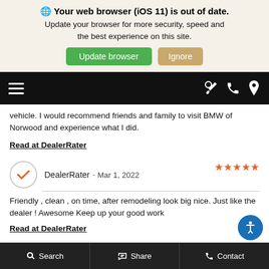🌐 Your web browser (iOS 11) is out of date. Update your browser for more security, speed and the best experience on this site.
Update browser | Ignore
[Figure (screenshot): Mobile navigation bar with hamburger menu on left and wrench, phone, location icons on right, on black background]
vehicle. I would recommend friends and family to visit BMW of Norwood and experience what I did.
Read at DealerRater
DealerRater - Mar 1, 2022  ★★★★★
Friendly , clean , on time, after remodeling look big nice. Just like the dealer ! Awesome Keep up your good work
Read at DealerRater
Search   Share   Contact